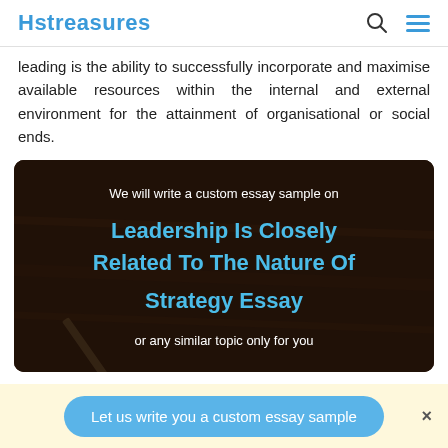Hstreasures
leading is the ability to successfully incorporate and maximise available resources within the internal and external environment for the attainment of organisational or social ends.
[Figure (infographic): Dark-background promotional banner with text: 'We will write a custom essay sample on' followed by 'Leadership Is Closely Related To The Nature Of Strategy Essay' in blue, followed by 'or any similar topic only for you']
Let us write you a custom essay sample